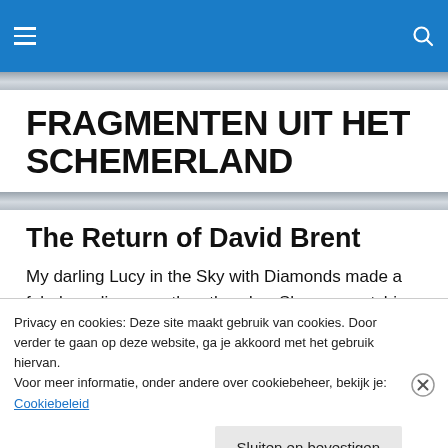FRAGMENTEN UIT HET SCHEMERLAND — navigation bar with hamburger menu and search icon
FRAGMENTEN UIT HET SCHEMERLAND
The Return of David Brent
My darling Lucy in the Sky with Diamonds made a fabulous discovery the other day. She was watching an old
Privacy en cookies: Deze site maakt gebruik van cookies. Door verder te gaan op deze website, ga je akkoord met het gebruik hiervan.
Voor meer informatie, onder andere over cookiebeheer, bekijk je:
Cookiebeleid
Sluiten en bevestigen